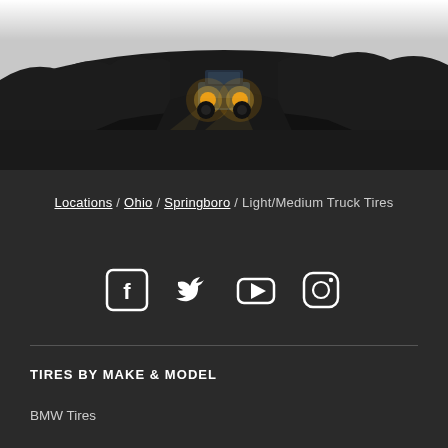[Figure (photo): Off-road vehicle with yellow headlights driving through rocky terrain with dark foliage on both sides, dramatic landscape scene at dusk]
Locations / Ohio / Springboro / Light/Medium Truck Tires
[Figure (other): Social media icons: Facebook, Twitter, YouTube, Instagram]
TIRES BY MAKE & MODEL
BMW Tires